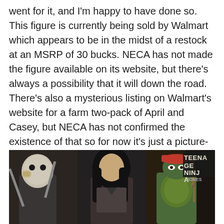went for it, and I'm happy to have done so. This figure is currently being sold by Walmart which appears to be in the midst of a restock at an MSRP of 30 bucks. NECA has not made the figure available on its website, but there's always a possibility that it will down the road. There's also a mysterious listing on Walmart's website for a farm two-pack of April and Casey, but NECA has not confirmed the existence of that so for now it's just a picture-less listing. A special shoutout to a user at thefwoosh.com, Detrimental_Fig, who was able to find this figure locally and ship it to me after I failed to track one down. Collectors, help each other out and don't feed those scalpers! There should be plenty to go around.
[Figure (photo): Photo of three action figures: a Casey Jones figure with a hockey mask on the left, an April O'Neil figure in the center, and a Teenage Mutant Ninja Turtle figure with a red hat on the right. A TEENAGE NINJA box graphic/label is visible in the upper right corner with JONES text.]